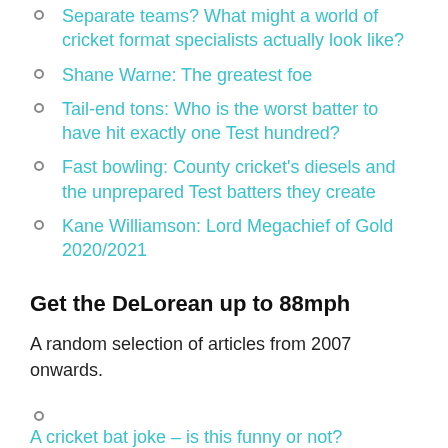Separate teams? What might a world of cricket format specialists actually look like?
Shane Warne: The greatest foe
Tail-end tons: Who is the worst batter to have hit exactly one Test hundred?
Fast bowling: County cricket's diesels and the unprepared Test batters they create
Kane Williamson: Lord Megachief of Gold 2020/2021
Get the DeLorean up to 88mph
A random selection of articles from 2007 onwards.
A cricket bat joke – is this funny or not?